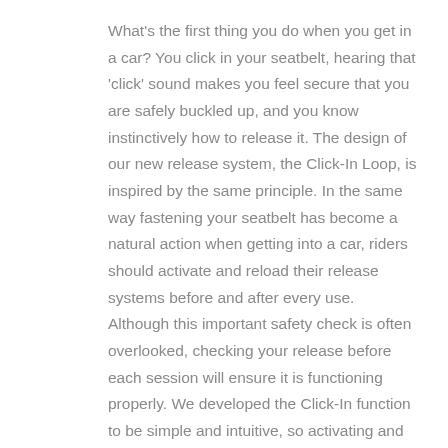What's the first thing you do when you get in a car? You click in your seatbelt, hearing that 'click' sound makes you feel secure that you are safely buckled up, and you know instinctively how to release it. The design of our new release system, the Click-In Loop, is inspired by the same principle. In the same way fastening your seatbelt has become a natural action when getting into a car, riders should activate and reload their release systems before and after every use. Although this important safety check is often overlooked, checking your release before each session will ensure it is functioning properly. We developed the Click-In function to be simple and intuitive, so activating and reloading will become second nature.